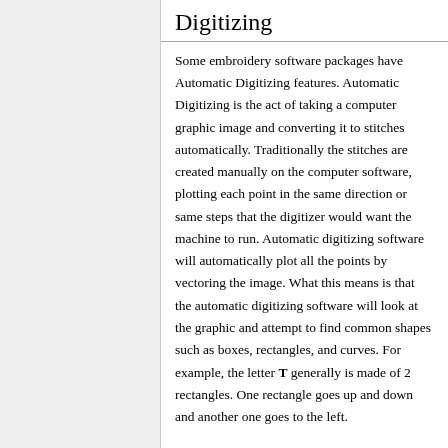Digitizing
Some embroidery software packages have Automatic Digitizing features. Automatic Digitizing is the act of taking a computer graphic image and converting it to stitches automatically. Traditionally the stitches are created manually on the computer software, plotting each point in the same direction or same steps that the digitizer would want the machine to run. Automatic digitizing software will automatically plot all the points by vectoring the image. What this means is that the automatic digitizing software will look at the graphic and attempt to find common shapes such as boxes, rectangles, and curves. For example, the letter T generally is made of 2 rectangles. One rectangle goes up and down and another one goes to the left.